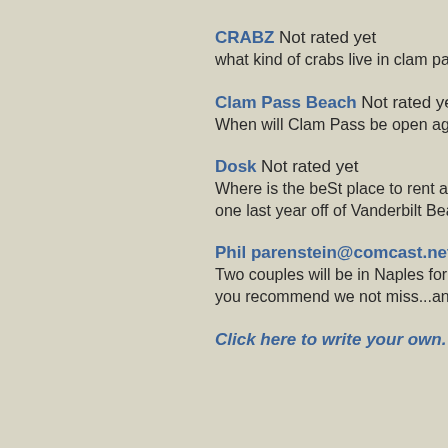CRABZ Not rated yet
what kind of crabs live in clam pass
Clam Pass Beach Not rated yet
When will Clam Pass be open again
Dosk Not rated yet
Where is the beSt place to rent a po
one last year off of Vanderbilt Beach
Phil parenstein@comcast.net Not
Two couples will be in Naples for 3 d
you recommend we not miss...and w
Click here to write your own.